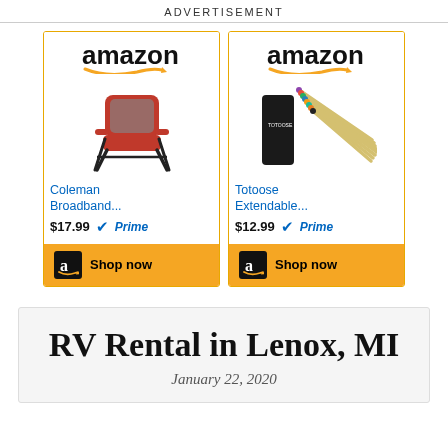ADVERTISEMENT
[Figure (other): Amazon advertisement card showing a red Coleman folding camp chair. Product title: Coleman Broadband... Price: $17.99 with Prime badge. Shop now button.]
[Figure (other): Amazon advertisement card showing Totoose extendable roasting sticks/marshmallow skewers in a black case. Product title: Totoose Extendable... Price: $12.99 with Prime badge. Shop now button.]
RV Rental in Lenox, MI
January 22, 2020